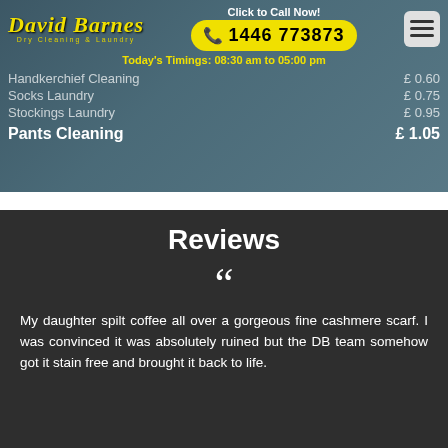[Figure (screenshot): David Barnes Dry Cleaning & Laundry website header with logo, phone number button, menu, timings, and service price list items over a dark sewing/fabric background image]
Click to Call Now!
1446 773873
Today's Timings: 08:30 am to 05:00 pm
Handkerchief Cleaning - £0.60
Socks Laundry - £0.75
Stockings Laundry - £0.95
Pants Cleaning - £1.05
Reviews
My daughter spilt coffee all over a gorgeous fine cashmere scarf. I was convinced it was absolutely ruined but the DB team somehow got it stain free and brought it back to life.